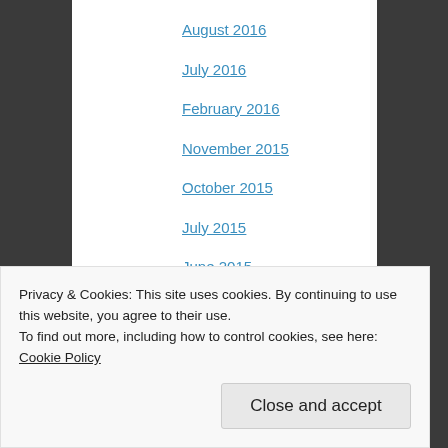August 2016
July 2016
February 2016
November 2015
October 2015
July 2015
June 2015
April 2015
March 2015
January 2015
December 2014
Privacy & Cookies: This site uses cookies. By continuing to use this website, you agree to their use. To find out more, including how to control cookies, see here: Cookie Policy
Close and accept